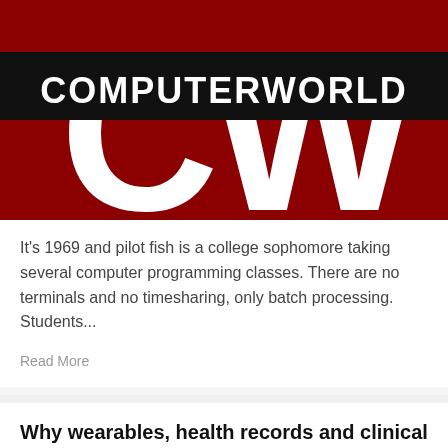[Figure (logo): Computerworld magazine logo — dark red background with large white CW letters and a black banner reading COMPUTERWORLD in white bold text]
It's 1969 and pilot fish is a college sophomore taking several computer programming classes. There are no terminals and no timesharing, only batch processing. Students...
Read More
Why wearables, health records and clinical trials need a blockchain injection